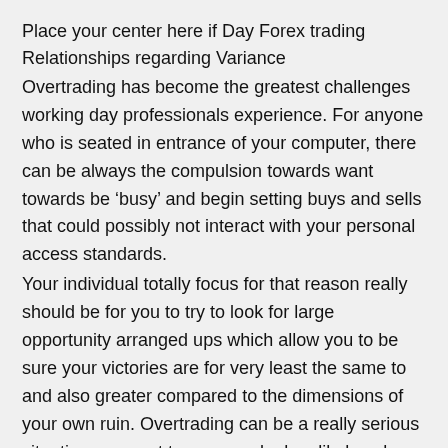Place your center here if Day Forex trading Relationships regarding Variance
Overtrading has become the greatest challenges working day professionals experience. For anyone who is seated in entrance of your computer, there can be always the compulsion towards want towards be ‘busy’ and begin setting buys and sells that could possibly not interact with your personal access standards.
Your individual totally focus for that reason really should be for you to try to look for large opportunity arranged ups which allow you to be sure your victories are for very least the same to and also greater compared to the dimensions of your own ruin. Overtrading can be a really serious situation amongst temporary dealers likely only behaves towards help range the compartments of your broker you use.
Examine more: .